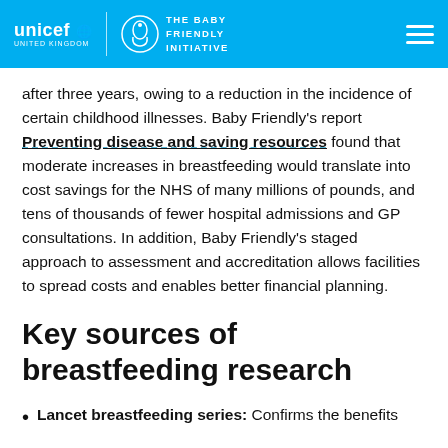UNICEF UK | THE BABY FRIENDLY INITIATIVE
after three years, owing to a reduction in the incidence of certain childhood illnesses. Baby Friendly's report Preventing disease and saving resources found that moderate increases in breastfeeding would translate into cost savings for the NHS of many millions of pounds, and tens of thousands of fewer hospital admissions and GP consultations. In addition, Baby Friendly's staged approach to assessment and accreditation allows facilities to spread costs and enables better financial planning.
Key sources of breastfeeding research
Lancet breastfeeding series: Confirms the benefits